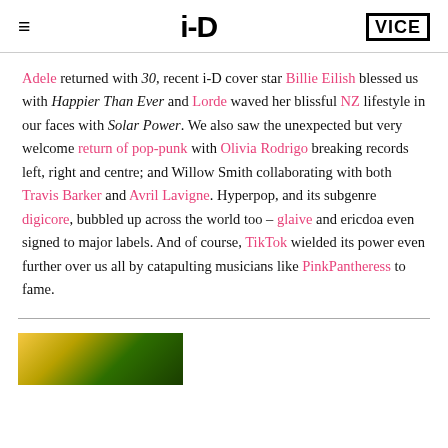i-D | VICE
Adele returned with 30, recent i-D cover star Billie Eilish blessed us with Happier Than Ever and Lorde waved her blissful NZ lifestyle in our faces with Solar Power. We also saw the unexpected but very welcome return of pop-punk with Olivia Rodrigo breaking records left, right and centre; and Willow Smith collaborating with both Travis Barker and Avril Lavigne. Hyperpop, and its subgenre digicore, bubbled up across the world too – glaive and ericdoa even signed to major labels. And of course, TikTok wielded its power even further over us all by catapulting musicians like PinkPantheress to fame.
[Figure (photo): Partial image at bottom of page showing yellow and green tones, likely a photo related to an article.]